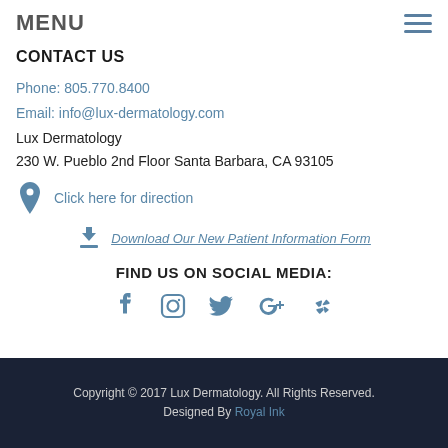MENU
CONTACT US
Phone: 805.770.8400
Email: info@lux-dermatology.com
Lux Dermatology
230 W. Pueblo 2nd Floor Santa Barbara, CA 93105
Click here for direction
Download Our New Patient Information Form
FIND US ON SOCIAL MEDIA:
[Figure (infographic): Social media icons: Facebook, Instagram, Twitter, Google+, Yelp]
Copyright © 2017 Lux Dermatology. All Rights Reserved. Designed By Royal Ink